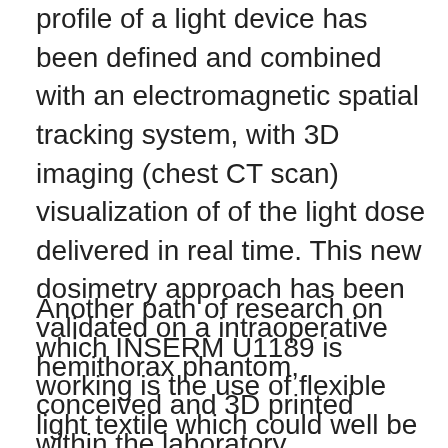profile of a light device has been defined and combined with an electromagnetic spatial tracking system, with 3D imaging (chest CT scan) visualization of of the light dose delivered in real time. This new dosimetry approach has been validated on a intraoperative hemithorax phantom, conceived and 3D printed within the laboratory.
Another path of research on which INSERM U1189 is working is the use of flexible light textile which could well be applied on the pleural cavity walls. Recent work, has demonstrated that flexible light textile